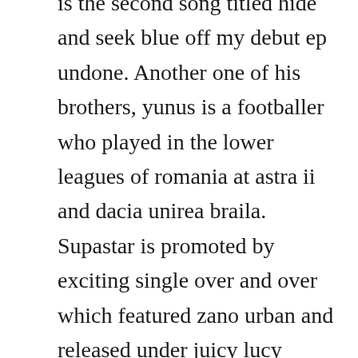is the second song titled hide and seek blue off my debut ep undone. Another one of his brothers, yunus is a footballer who played in the lower leagues of romania at astra ii and dacia unirea braila. Supastar is promoted by exciting single over and over which featured zano urban and released under juicy lucy music. Kellys song writing prowess just in case you forgot. Check out omo oloye by fatai rolling dollar on amazon music. The award, instigated by a government backed foundation in the netherlands is named after the deceased